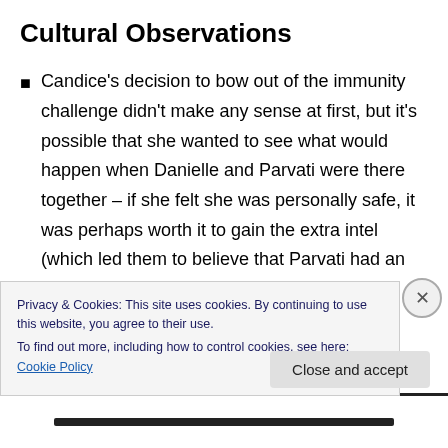Cultural Observations
Candice's decision to bow out of the immunity challenge didn't make any sense at first, but it's possible that she wanted to see what would happen when Danielle and Parvati were there together – if she felt she was personally safe, it was perhaps worth it to gain the extra intel (which led them to believe that Parvati had an Idol, or should have led them to that conclusion).
Privacy & Cookies: This site uses cookies. By continuing to use this website, you agree to their use.
To find out more, including how to control cookies, see here: Cookie Policy
Close and accept